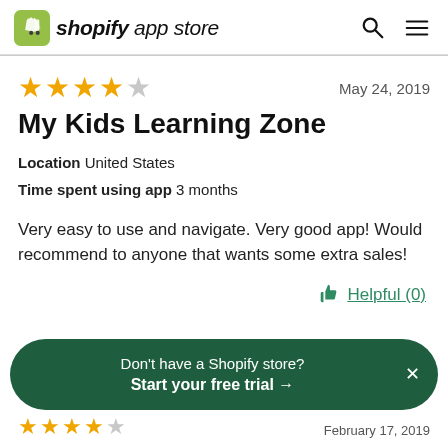shopify app store
May 24, 2019
My Kids Learning Zone
Location  United States
Time spent using app  3 months
Very easy to use and navigate. Very good app! Would recommend to anyone that wants some extra sales!
Helpful (0)
Don't have a Shopify store? Start your free trial →
February 17, 2019